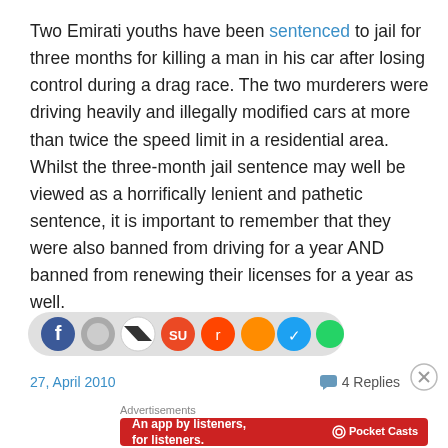Two Emirati youths have been sentenced to jail for three months for killing a man in his car after losing control during a drag race. The two murderers were driving heavily and illegally modified cars at more than twice the speed limit in a residential area. Whilst the three-month jail sentence may well be viewed as a horrifically lenient and pathetic sentence, it is important to remember that they were also banned from driving for a year AND banned from renewing their licenses for a year as well.
[Figure (infographic): Social media sharing icons bar including Facebook, and other social network icons]
27, April 2010
4 Replies
[Figure (infographic): Advertisement banner for Pocket Casts app - An app by listeners, for listeners.]